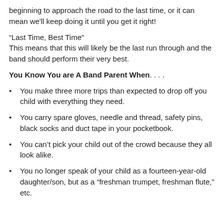beginning to approach the road to the last time, or it can mean we'll keep doing it until you get it right!
“Last Time, Best Time”
This means that this will likely be the last run through and the band should perform their very best.
You Know You are A Band Parent When. . . .
You make three more trips than expected to drop off you child with everything they need.
You carry spare gloves, needle and thread, safety pins, black socks and duct tape in your pocketbook.
You can’t pick your child out of the crowd because they all look alike.
You no longer speak of your child as a fourteen-year-old daughter/son, but as a “freshman trumpet, freshman flute,” etc.